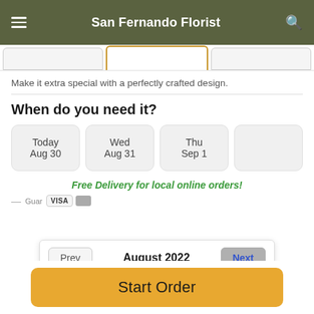San Fernando Florist
Make it extra special with a perfectly crafted design.
When do you need it?
Today Aug 30
Wed Aug 31
Thu Sep 1
Free Delivery for local online orders!
[Figure (screenshot): Calendar popup showing August 2022 with Prev and Next navigation buttons and day-of-week headers Su Mo Tu We Th Fr Sa]
Start Order